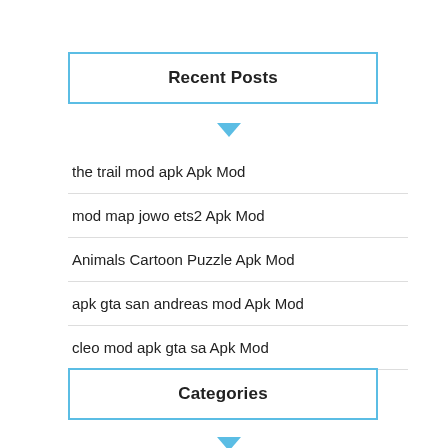Recent Posts
the trail mod apk Apk Mod
mod map jowo ets2 Apk Mod
Animals Cartoon Puzzle Apk Mod
apk gta san andreas mod Apk Mod
cleo mod apk gta sa Apk Mod
Categories